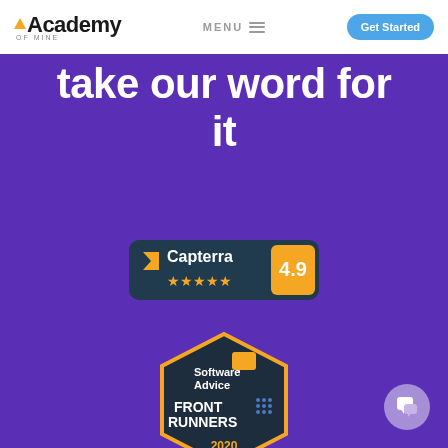Academy of Mine | MENU | Get Started
take our word for it
[Figure (logo): Capterra badge with 4.9 star rating and 5 orange stars on dark teal background]
[Figure (logo): Software Advice Front Runners 2020 hexagonal badge with orange border on dark background]